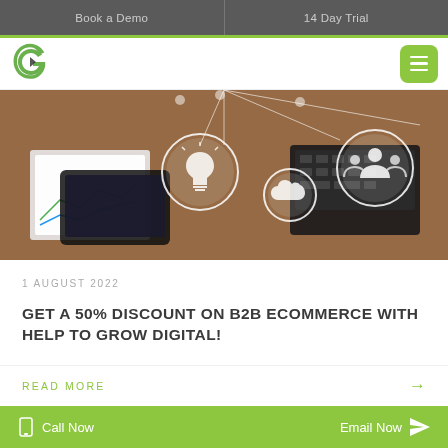Book a Demo | 14 Day Trial
[Figure (logo): Green G logo for company brand]
[Figure (photo): Hero image showing tablets, smartphones, charts and digital network icons (lightbulb, cloud, people) on a desk]
1 AUGUST 2022
GET A 50% DISCOUNT ON B2B ECOMMERCE WITH HELP TO GROW DIGITAL!
READ MORE →
Call Now  |  Email Now